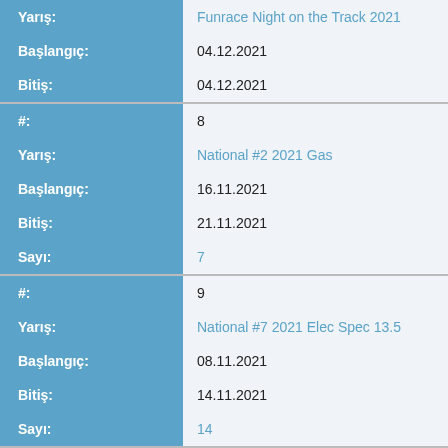| Field | Value |
| --- | --- |
| Yarış: | Funrace Night on the Track 2021 |
| Başlangıç: | 04.12.2021 |
| Bitiş: | 04.12.2021 |
| #: | 8 |
| Yarış: | National #2 2021 Gas |
| Başlangıç: | 16.11.2021 |
| Bitiş: | 21.11.2021 |
| Sayı: | 7 |
| #: | 9 |
| Yarış: | National #7 2021 Elec Spec 13.5 |
| Başlangıç: | 08.11.2021 |
| Bitiş: | 14.11.2021 |
| Sayı: | 14 |
| #: | 10 |
| Yarış: | National #6 2021 Elec Spec 13.5 |
| Başlangıç: | 31.10.2021 |
| Bitiş: | 31.10.2021 |